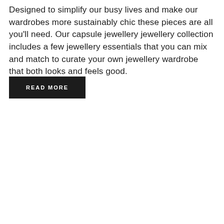Designed to simplify our busy lives and make our wardrobes more sustainably chic these pieces are all you'll need. Our capsule jewellery jewellery collection includes a few jewellery essentials that you can mix and match to curate your own jewellery wardrobe that both looks and feels good.
READ MORE